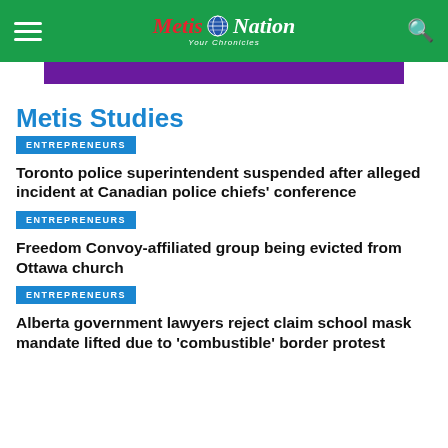Metis Nation — News site header with hamburger menu and search icon
[Figure (other): Purple advertisement banner]
Metis Studies
ENTREPRENEURS
Toronto police superintendent suspended after alleged incident at Canadian police chiefs' conference
ENTREPRENEURS
Freedom Convoy-affiliated group being evicted from Ottawa church
ENTREPRENEURS
Alberta government lawyers reject claim school mask mandate lifted due to 'combustible' border protest